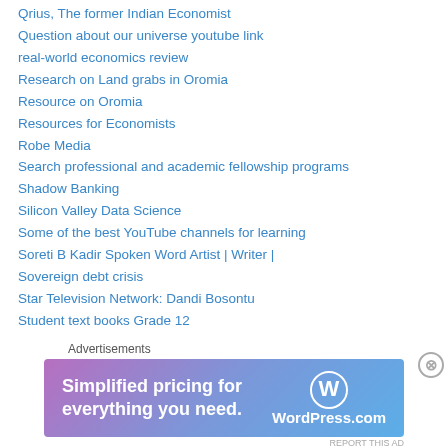Qrius, The former Indian Economist
Question about our universe youtube link
real-world economics review
Research on Land grabs in Oromia
Resource on Oromia
Resources for Economists
Robe Media
Search professional and academic fellowship programs
Shadow Banking
Silicon Valley Data Science
Some of the best YouTube channels for learning
Soreti B Kadir Spoken Word Artist | Writer |
Sovereign debt crisis
Star Television Network: Dandi Bosontu
Student text books Grade 12
Student text books Grade 12 Afaan Oromoo
[Figure (screenshot): WordPress.com advertisement banner: 'Simplified pricing for everything you need.' with WordPress.com logo on gradient background (purple to blue).]